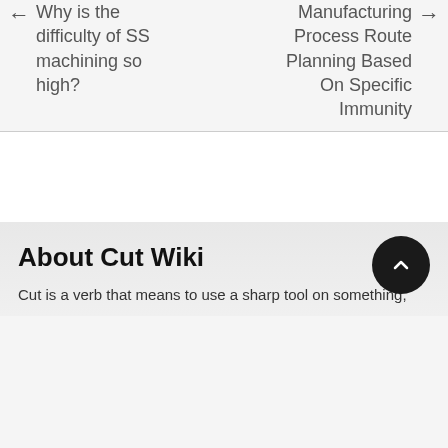Why is the difficulty of SS machining so high?
Manufacturing Process Route Planning Based On Specific Immunity
About Cut Wiki
Cut is a verb that means to use a sharp tool on something,